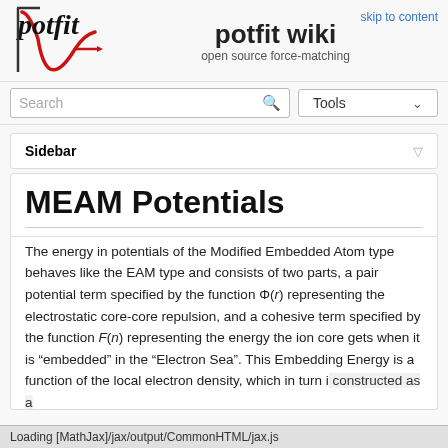[Figure (logo): potfit logo with red curve and arrow, italic text 'potfit']
potfit wiki
open source force-matching
skip to content
Search
Tools
Sidebar
MEAM Potentials
The energy in potentials of the Modified Embedded Atom type behaves like the EAM type and consists of two parts, a pair potential term specified by the function Φ(r) representing the electrostatic core-core repulsion, and a cohesive term specified by the function F(n) representing the energy the ion core gets when it is “embedded” in the “Electron Sea”. This Embedding Energy is a function of the local electron density, which in turn is constructed as a superposition of the contributions from neighboring atoms
Loading [MathJax]/jax/output/CommonHTML/jax.js